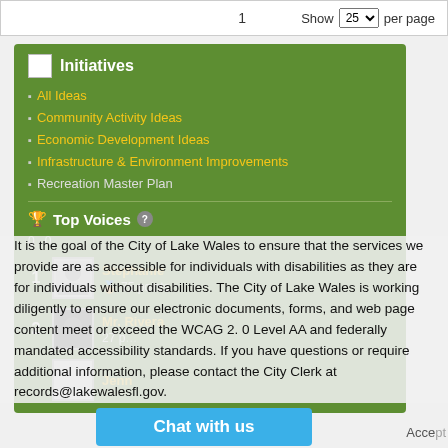1   Show 25 per page
Initiatives
All Ideas
Community Activity Ideas
Economic Development Ideas
Infrastructure & Environment Improvements
Recreation Master Plan
Top Voices
0 0
Stephanie
75 points
Mr. Rivera
27 p
Jenn
It is the goal of the City of Lake Wales to ensure that the services we provide are as accessible for individuals with disabilities as they are for individuals without disabilities. The City of Lake Wales is working diligently to ensure our electronic documents, forms, and web page content meet or exceed the WCAG 2. 0 Level AA and federally mandated accessibility standards. If you have questions or require additional information, please contact the City Clerk at records@lakewalesfl.gov.
Chat with us
Acce